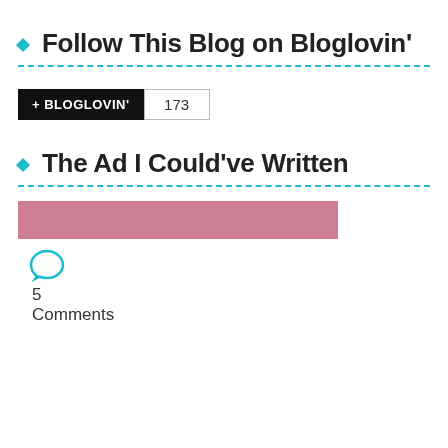Follow This Blog on Bloglovin'
[Figure (other): Bloglovin follow button with count 173]
The Ad I Could've Written
[Figure (other): Pink/mauve horizontal image bar (partial post thumbnail)]
5 Comments